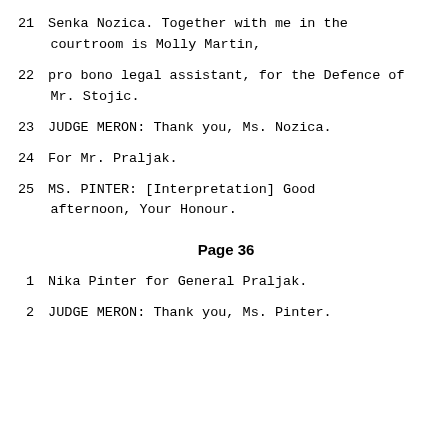21    Senka Nozica.  Together with me in the courtroom is Molly Martin,
22    pro bono legal assistant, for the Defence of Mr. Stojic.
23           JUDGE MERON:  Thank you, Ms. Nozica.
24           For Mr. Praljak.
25           MS. PINTER: [Interpretation] Good afternoon, Your Honour.
Page 36
1     Nika Pinter for General Praljak.
2            JUDGE MERON:  Thank you, Ms. Pinter.